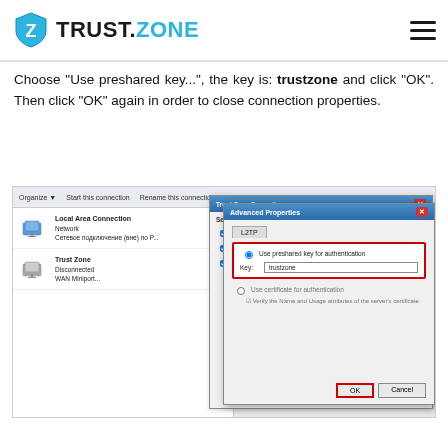TRUST.ZONE
Choose "Use preshared key...", the key is: trustzone and click "OK". Then click "OK" again in order to close connection properties.
[Figure (screenshot): Windows Network Connections window showing Trust Zone connection, with Advanced Properties dialog open. The dialog shows 'Use preshared key for authentication' selected with key 'trustzone' entered. The OK button is highlighted with a red border.]